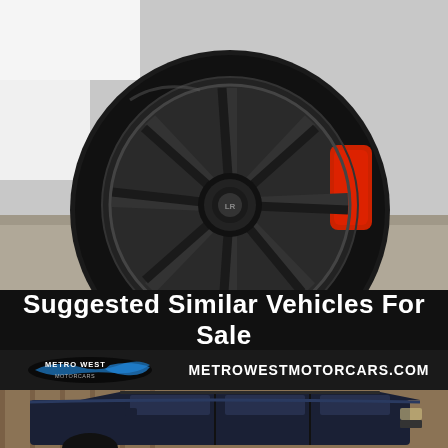[Figure (photo): Close-up photo of a black alloy wheel with red brake caliper visible, on a white SUV, set against a concrete/gravel ground]
Suggested Similar Vehicles For Sale
[Figure (logo): Metro West Motorcars logo — oval shape with blue swoosh graphic, white text 'METRO WEST MOTORCARS']
METROWESTMOTORCARS.COM
[Figure (photo): Dark navy blue Land Rover LR4/Discovery SUV parked in front of a wooden fence, photographed from the front-side angle]